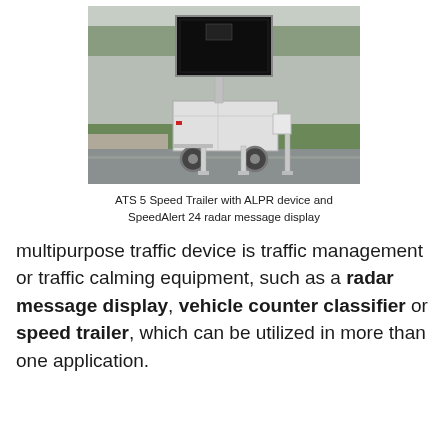[Figure (photo): ATS 5 Speed Trailer with ALPR device and SpeedAlert 24 radar message display — a white trailer unit with large dark sign board on top, two wheels, stabilizer legs, parked on grass beside a road]
ATS 5 Speed Trailer with ALPR device and SpeedAlert 24 radar message display
multipurpose traffic device is traffic management or traffic calming equipment, such as a radar message display, vehicle counter classifier or speed trailer, which can be utilized in more than one application.